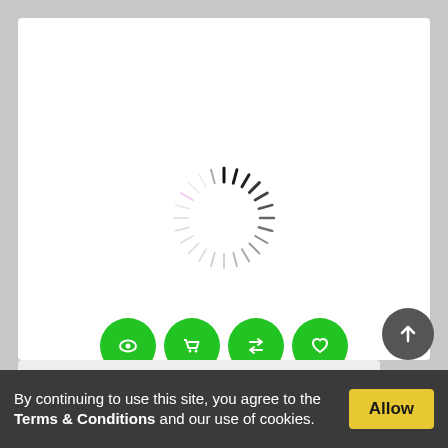[Figure (other): Loading spinner (circular dashed ring, dark ticks at top fading to light ticks at bottom)]
[Figure (infographic): Four green circular icon buttons: eye (view), shopping cart (add to cart), shuffle/compare, heart (wishlist)]
331573 Fast Rescue Boat Operation
€4.13  €3.30
By continuing to use this site, you agree to the Terms & Conditions and our use of cookies.